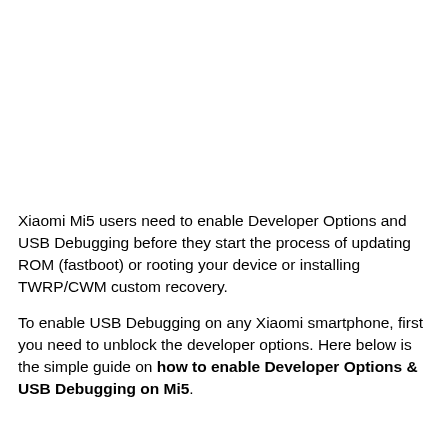Xiaomi Mi5 users need to enable Developer Options and USB Debugging before they start the process of updating ROM (fastboot) or rooting your device or installing TWRP/CWM custom recovery.
To enable USB Debugging on any Xiaomi smartphone, first you need to unblock the developer options. Here below is the simple guide on how to enable Developer Options & USB Debugging on Mi5.